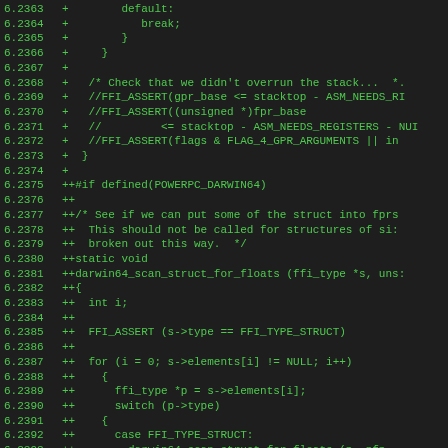[Figure (screenshot): Source code diff view showing C code additions (lines 6.2363–6.2394), green monospace text on dark background. Lines show switch/case structure, FFI_ASSERT macros, POWERPC_DARWIN64 preprocessor block, and darwin64_scan_struct_for_floats function definition.]